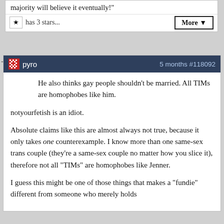majority will believe it eventually!"
★  has 3 stars...
More ▼
pyro   5 months #118092
He also thinks gay people shouldn't be married. All TIMs are homophobes like him.
notyourfetish is an idiot.
Absolute claims like this are almost always not true, because it only takes one counterexample. I know more than one same-sex trans couple (they're a same-sex couple no matter how you slice it), therefore not all "TIMs" are homophobes like Jenner.
I guess this might be one of those things that makes a "fundie" different from someone who merely holds